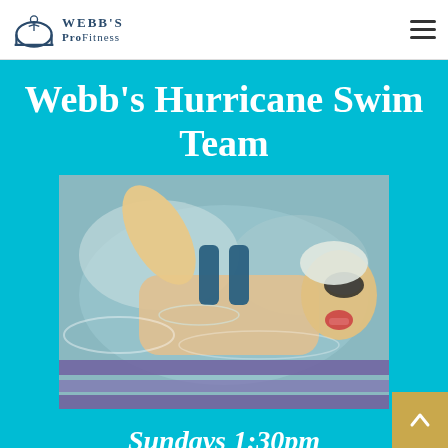Webb's ProFitness
Webb's Hurricane Swim Team
[Figure (photo): Close-up action photo of a swimmer mid-stroke, wearing goggles and a blue swimsuit, mouth open, water splashing around them, with purple lane dividers visible below.]
Sundays 1:30pm
1 hour